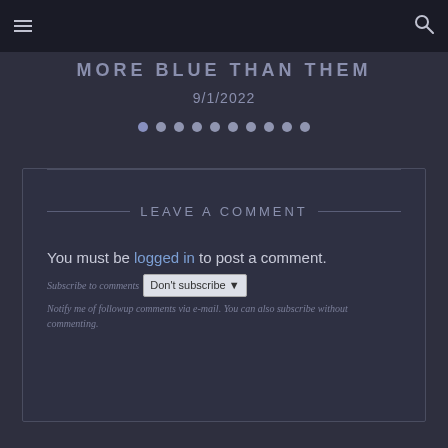≡  [menu icon]  [search icon]
MORE BLUE THAN THEM
9/1/2022
[Figure (other): Pagination dots row — 10 dots, first one highlighted in blue/active state]
LEAVE A COMMENT
You must be logged in to post a comment.
Subscribe to comments  Don't subscribe ▾  Notify me of followup comments via e-mail. You can also subscribe without commenting.